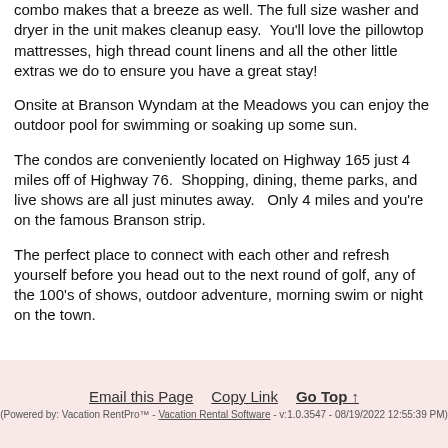combo makes that a breeze as well. The full size washer and dryer in the unit makes cleanup easy. You'll love the pillowtop mattresses, high thread count linens and all the other little extras we do to ensure you have a great stay!
Onsite at Branson Wyndam at the Meadows you can enjoy the outdoor pool for swimming or soaking up some sun.
The condos are conveniently located on Highway 165 just 4 miles off of Highway 76. Shopping, dining, theme parks, and live shows are all just minutes away. Only 4 miles and you're on the famous Branson strip.
The perfect place to connect with each other and refresh yourself before you head out to the next round of golf, any of the 100's of shows, outdoor adventure, morning swim or night on the town.
Email this Page  Copy Link  Go Top ↑
(Powered by: Vacation RentPro™ - Vacation Rental Software - v:1.0.3547 - 08/19/2022 12:55:39 PM)